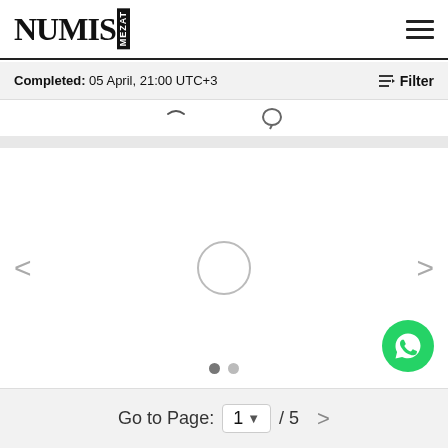NUMIS MEZAT
Completed: 05 April, 21:00 UTC+3
[Figure (screenshot): Auction website screenshot showing the NumisMezat logo in the navigation bar, a completed auction filter bar, an image viewer with loading spinner and navigation arrows, WhatsApp contact button, and a pagination control at the bottom reading Go to Page: 1 / 5.]
Go to Page: 1 ▼ / 5